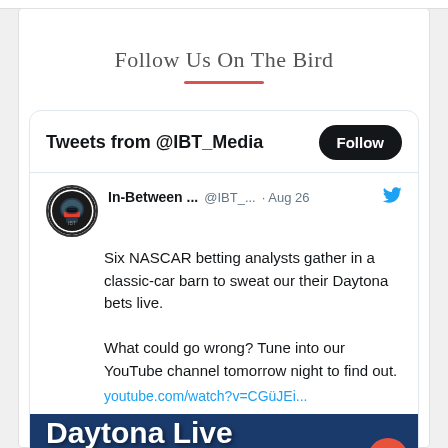Follow Us On The Bird
[Figure (screenshot): Twitter/X embedded tweet widget showing tweets from @IBT_Media with a Follow button, an avatar of In-Between Media logo, tweet text about six NASCAR betting analysts gathering in a classic-car barn for Daytona bets live, with a YouTube link and partial Daytona Live image preview]